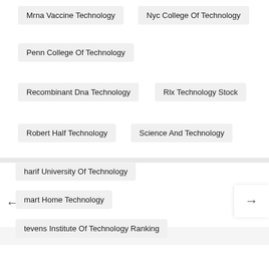Mrna Vaccine Technology
Nyc College Of Technology
Penn College Of Technology
Recombinant Dna Technology
Rlx Technology Stock
Robert Half Technology
Science And Technology
harif University Of Technology
mart Home Technology
tevens Institute Of Technology Ranking
Symphony Technology Group
Technology In The Classroom
Technology Readiness Level
Technology Stores Near Me